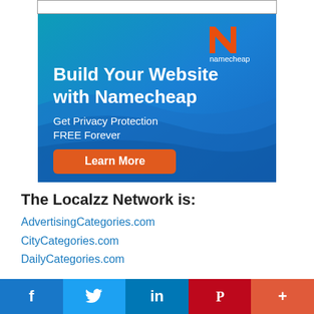[Figure (illustration): Namecheap advertisement banner with teal/blue gradient background. Shows Namecheap logo (orange N) in top right, bold white text 'Build Your Website with Namecheap', smaller white text 'Get Privacy Protection FREE Forever', and an orange 'Learn More' button.]
The Localzz Network is:
AdvertisingCategories.com
CityCategories.com
DailyCategories.com
[Figure (infographic): Social sharing bar with Facebook (f), Twitter (bird), LinkedIn (in), Pinterest (P), and More (+) buttons in their respective brand colors.]